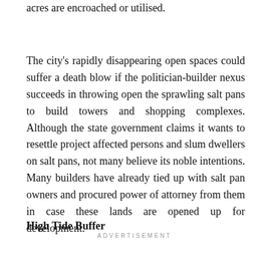acres are encroached or utilised.
The city's rapidly disappearing open spaces could suffer a death blow if the politician-builder nexus succeeds in throwing open the sprawling salt pans to build towers and shopping complexes. Although the state government claims it wants to resettle project affected persons and slum dwellers on salt pans, not many believe its noble intentions. Many builders have already tied up with salt pan owners and procured power of attorney from them in case these lands are opened up for development.
High Tide Buffer
ADVERTISEMENT